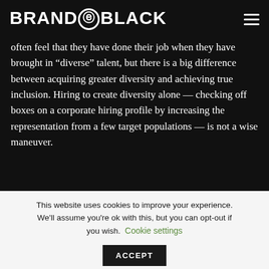BRANDQBLACK
often feel that they have done their job when they have brought in “diverse” talent, but there is a big difference between acquiring greater diversity and achieving true inclusion. Hiring to create diversity alone — checking off boxes on a corporate hiring profile by increasing the representation from a few target populations — is not a wise maneuver.
This website uses cookies to improve your experience. We’ll assume you’re ok with this, but you can opt-out if you wish. Cookie settings ACCEPT